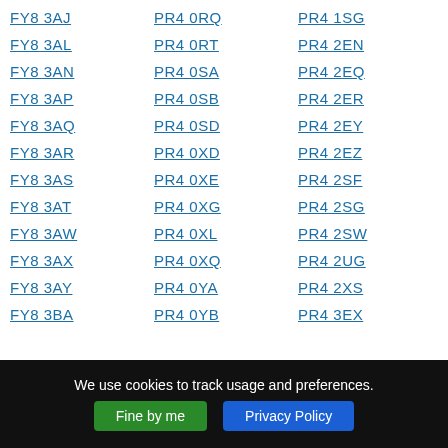FY8 3AJ
PR4 0RQ
PR4 1SG
FY8 3AL
PR4 0RT
PR4 2EN
FY8 3AN
PR4 0SA
PR4 2EQ
FY8 3AP
PR4 0SB
PR4 2ER
FY8 3AQ
PR4 0SD
PR4 2EY
FY8 3AR
PR4 0XD
PR4 2EZ
FY8 3AS
PR4 0XE
PR4 2SF
FY8 3AT
PR4 0XG
PR4 2SG
FY8 3AW
PR4 0XL
PR4 2SW
FY8 3AX
PR4 0XQ
PR4 2UG
FY8 3AY
PR4 0YA
PR4 2XS
FY8 3BA
PR4 0YB
PR4 3EX
We use cookies to track usage and preferences.
Fine by me
Privacy Policy